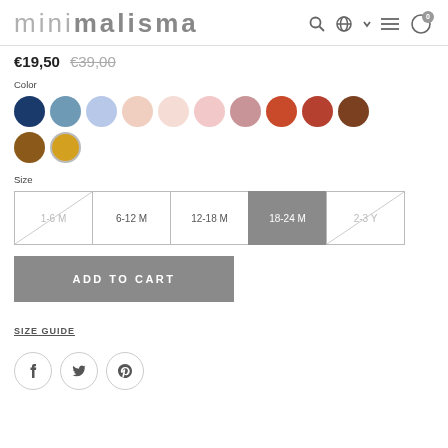minimalisma
€19,50  €39,00
Color
[Figure (infographic): Color swatches: 12 circles in navy, steel blue, lavender, pale peach, light pink, soft pink, dusty rose, terracotta, rusty orange, brown, medium brown, golden yellow. Golden yellow is selected.]
Size
[Figure (infographic): Size selector boxes: 1-6 M (unavailable, crossed), 6-12 M, 12-18 M, 18-24 M (selected/filled grey), 2-3 Y (unavailable, crossed)]
ADD TO CART
SIZE GUIDE
[Figure (infographic): Social sharing buttons: Facebook, Twitter, Pinterest icons in circles]